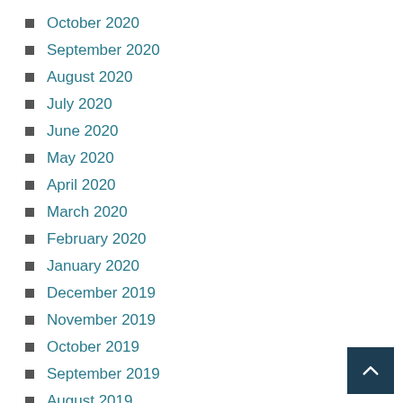October 2020
September 2020
August 2020
July 2020
June 2020
May 2020
April 2020
March 2020
February 2020
January 2020
December 2019
November 2019
October 2019
September 2019
August 2019